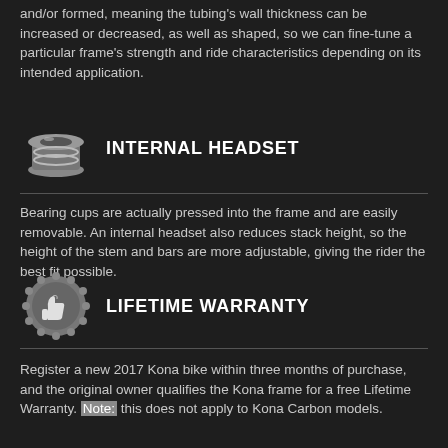and/or formed, meaning the tubing's wall thickness can be increased or decreased, as well as shaped, so we can fine-tune a particular frame's strength and ride characteristics depending on its intended application.
[Figure (illustration): Icon of an internal headset bearing cup, shown as a stacked cylindrical component in gray/white tones.]
INTERNAL HEADSET
Bearing cups are actually pressed into the frame and are easily removable. An internal headset also reduces stack height, so the height of the stem and bars are more adjustable, giving the rider the best fit possible.
[Figure (illustration): Badge/seal icon with a thumbs-up symbol inside, rendered in gray tones with a scalloped border.]
LIFETIME WARRANTY
Register a new 2017 Kona bike within three months of purchase, and the original owner qualifies the Kona frame for a free Lifetime Warranty. Note: this does not apply to Kona Carbon models.